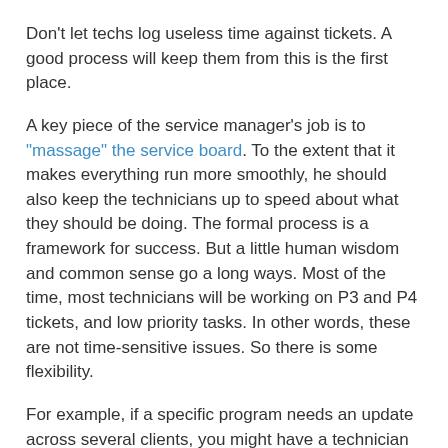Don't let techs log useless time against tickets. A good process will keep them from this is the first place.
A key piece of the service manager's job is to "massage" the service board. To the extent that it makes everything run more smoothly, he should also keep the technicians up to speed about what they should be doing. The formal process is a framework for success. But a little human wisdom and common sense go a long ways. Most of the time, most technicians will be working on P3 and P4 tickets, and low priority tasks. In other words, these are not time-sensitive issues. So there is some flexibility.
For example, if a specific program needs an update across several clients, you might have a technician work all of these at P3 tickets in one sitting. The tech will be more efficient, and you'll know that the issue has been handled. The formal process has no way of "knowing" that kind of information. But people can handle this very easily!